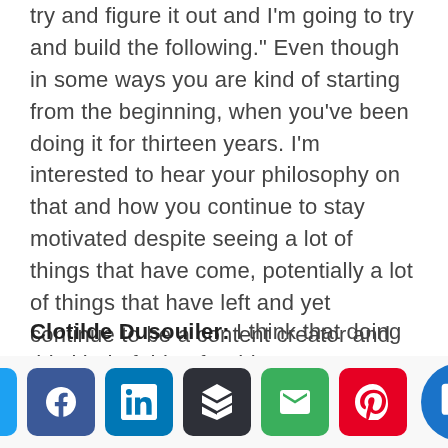try and figure it out and I'm going to try and build the following." Even though in some ways you are kind of starting from the beginning, when you've been doing it for thirteen years. I'm interested to hear your philosophy on that and how you continue to stay motivated despite seeing a lot of things that have come, potentially a lot of things that have left and yet continue to be a content creator and continue to produce and put your art and your work into the world?
Clotilde Dusouiler: I think that doing this kind of thing for thirteen years means that your mindset changes a lot also, not just the internet world but your own perspective on it. I definitely had